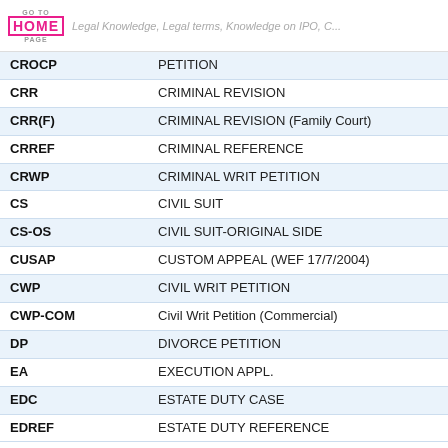GO TO HOME PAGE | Legal Knowledge, Legal terms, Knowledge on IPO, C...
| Code | Description |
| --- | --- |
| CROCP | PETITION |
| CRR | CRIMINAL REVISION |
| CRR(F) | CRIMINAL REVISION (Family Court) |
| CRREF | CRIMINAL REFERENCE |
| CRWP | CRIMINAL WRIT PETITION |
| CS | CIVIL SUIT |
| CS-OS | CIVIL SUIT-ORIGINAL SIDE |
| CUSAP | CUSTOM APPEAL (WEF 17/7/2004) |
| CWP | CIVIL WRIT PETITION |
| CWP-COM | Civil Writ Petition (Commercial) |
| DP | DIVORCE PETITION |
| EA | EXECUTION APPL. |
| EDC | ESTATE DUTY CASE |
| EDREF | ESTATE DUTY REFERENCE |